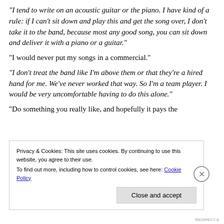“I tend to write on an acoustic guitar or the piano. I have kind of a rule: if I can’t sit down and play this and get the song over, I don’t take it to the band, because most any good song, you can sit down and deliver it with a piano or a guitar.”
“I would never put my songs in a commercial.”
“I don’t treat the band like I’m above them or that they’re a hired hand for me. We’ve never worked that way. So I’m a team player. I would be very uncomfortable having to do this alone.”
“Do something you really like, and hopefully it pays the
Privacy & Cookies: This site uses cookies. By continuing to use this website, you agree to their use.
To find out more, including how to control cookies, see here: Cookie Policy
Close and accept
REDIRECT.A